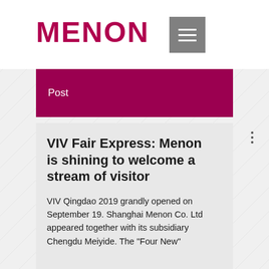[Figure (logo): MENON logo in bold dark magenta/crimson text]
[Figure (other): Gray hamburger menu button with three white horizontal lines]
Post
VIV Fair Express: Menon is shining to welcome a stream of visitor
VIV Qingdao 2019 grandly opened on September 19. Shanghai Menon Co. Ltd appeared together with its subsidiary Chengdu Meiyide. The "Four New"